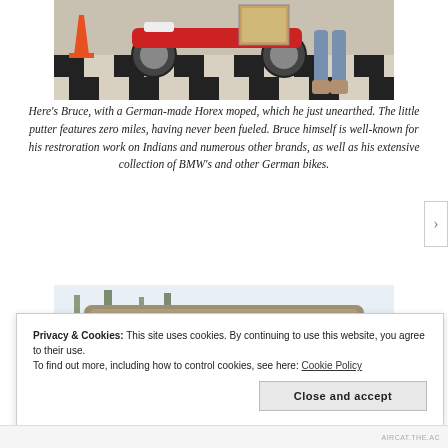[Figure (photo): Photo of Bruce standing next to a German-made Horex moped in what appears to be a museum or showroom with checkered floor tiles. An orange traffic cone is visible on the left. The person is wearing jeans.]
Here's Bruce, with a German-made Horex moped, which he just unearthed. The little putter features zero miles, having never been fueled. Bruce himself is well-known for his restroration work on Indians and numerous other brands, as well as his extensive collection of BMW's and other German bikes.
[Figure (photo): Photo of what appears to be a vintage motorcycle seat or similar object displayed near a window with a snowy outdoor scene visible in the background. Text is printed on the object.]
Privacy & Cookies: This site uses cookies. By continuing to use this website, you agree to their use.
To find out more, including how to control cookies, see here: Cookie Policy
Close and accept